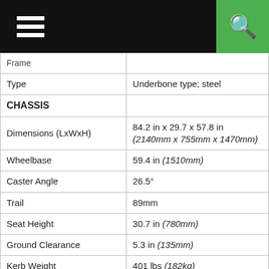Menu (hamburger icon) | Search (green button)
| Property | Value |
| --- | --- |
| Type | Underbone type; steel |
| CHASSIS |  |
| Dimensions (LxWxH) | 84.2 in x 29.7 x 57.8 in (2140mm x 755mm x 1470mm) |
| Wheelbase | 59.4 in (1510mm) |
| Caster Angle | 26.5° |
| Trail | 89mm |
| Seat Height | 30.7 in (780mm) |
| Ground Clearance | 5.3 in (135mm) |
| Kerb Weight | 401 lbs (182kg) |
| Turning radius | 7.8 ft (2.4m) |
| SUSPENSION |  |
| Type Front | φ33 Telescopic |
| Type Rear | Twin Shock |
| WHEELS |  |
| Rim Size Front | 15 inch |
| Rim Size Rear | 14 inch |